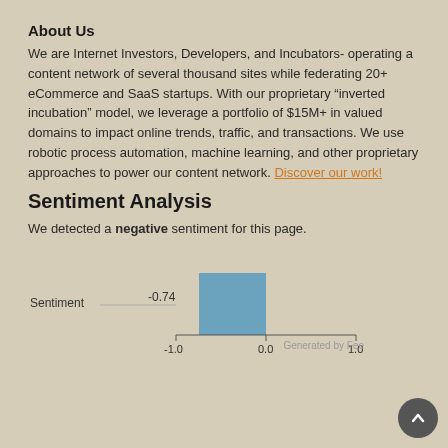About Us
We are Internet Investors, Developers, and Incubators- operating a content network of several thousand sites while federating 20+ eCommerce and SaaS startups. With our proprietary “inverted incubation” model, we leverage a portfolio of $15M+ in valued domains to impact online trends, traffic, and transactions. We use robotic process automation, machine learning, and other proprietary approaches to power our content network. Discover our work!
Sentiment Analysis
We detected a negative sentiment for this page.
[Figure (bar-chart): Sentiment]